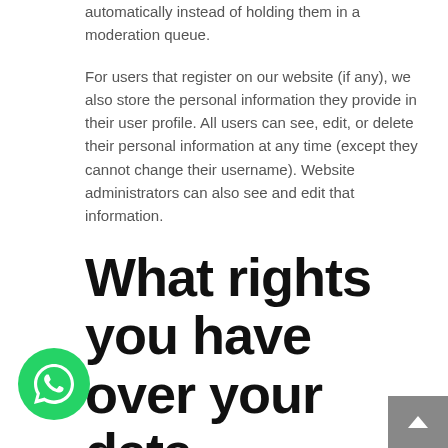automatically instead of holding them in a moderation queue.

For users that register on our website (if any), we also store the personal information they provide in their user profile. All users can see, edit, or delete their personal information at any time (except they cannot change their username). Website administrators can also see and edit that information.
What rights you have over your data